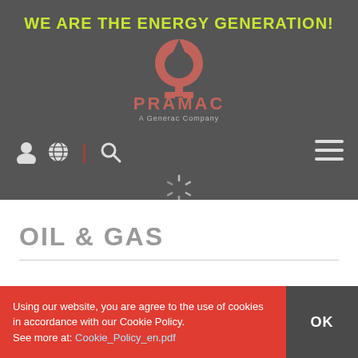WE ARE THE ENERGY GENERATION!
[Figure (logo): Pramac logo - a stylized red omega/tree symbol above the text PRAMAC and A Generac Company]
[Figure (screenshot): Navigation bar with user icon, globe icon, divider, search icon on left and hamburger menu on right, on dark grey background]
[Figure (other): Loading spinner icon in center]
OIL & GAS
Using our website, you are agree to the use of cookies in accordance with our Cookie Policy. See more at: Cookie_Policy_en.pdf